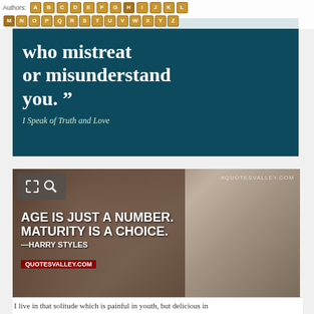Authors: A B C D E F G H I J K L M N O P Q R S T U V W X Y Z
[Figure (illustration): Dark teal quote image with white text reading 'who mistreat or misunderstand you.' and attribution 'I Speak of Truth and Love']
[Figure (photo): Photo of young man with curly brown hair overlaid with quote text: 'AGE IS JUST A NUMBER. MATURITY IS A CHOICE.' attributed to Harry Styles, QUOTESVALLEY.COM]
I live in that solitude which is painful in youth, but delicious in